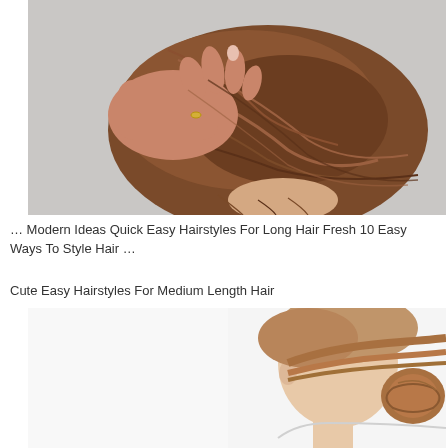[Figure (photo): Back view of a woman's head with brown hair styled in a twisted updo bun, a hand reaching in to adjust the style, on a light gray background.]
… Modern Ideas Quick Easy Hairstyles For Long Hair Fresh 10 Easy Ways To Style Hair …
Cute Easy Hairstyles For Medium Length Hair
[Figure (photo): Side profile of a young girl with light brown hair pulled back into a low bun hairstyle, on a white background, with partial pink italic text overlay reading 'low...' at the bottom.]